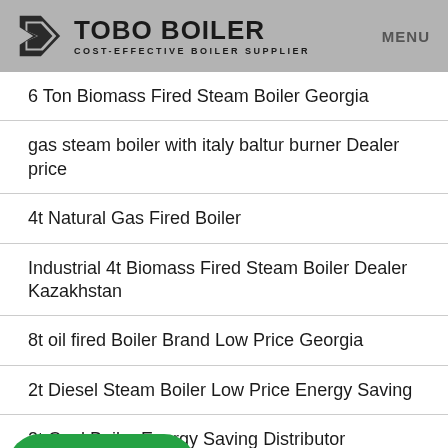[Figure (logo): Tobo Boiler logo with icon and text 'COST-EFFECTIVE BOILER SUPPLIER', plus MENU text on the right]
6 Ton Biomass Fired Steam Boiler Georgia
gas steam boiler with italy baltur burner Dealer price
4t Natural Gas Fired Boiler
Industrial 4t Biomass Fired Steam Boiler Dealer Kazakhstan
8t oil fired Boiler Brand Low Price Georgia
2t Diesel Steam Boiler Low Price Energy Saving
2t Coal Boiler Energy Saving Distributor Uzbekistan
[Figure (logo): WhatsApp button overlay with green background and WhatsApp icon]